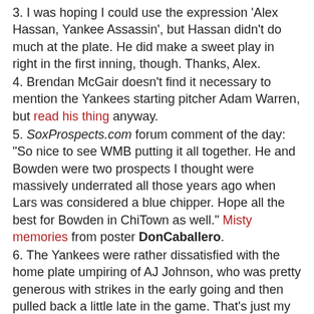3. I was hoping I could use the expression 'Alex Hassan, Yankee Assassin', but Hassan didn't do much at the plate. He did make a sweet play in right in the first inning, though. Thanks, Alex.
4. Brendan McGair doesn't find it necessary to mention the Yankees starting pitcher Adam Warren, but read his thing anyway.
5. SoxProspects.com forum comment of the day: "So nice to see WMB putting it all together. He and Bowden were two prospects I thought were massively underrated all those years ago when Lars was considered a blue chipper. Hope all the best for Bowden in ChiTown as well." Misty memories from poster DonCaballero.
6. The Yankees were rather dissatisfied with the home plate umpiring of AJ Johnson, who was pretty generous with strikes in the early going and then pulled back a little late in the game. That's just my opinion, though. That's the view from my seat.
Off day today, then Ross Ohlendorf in Columbus.